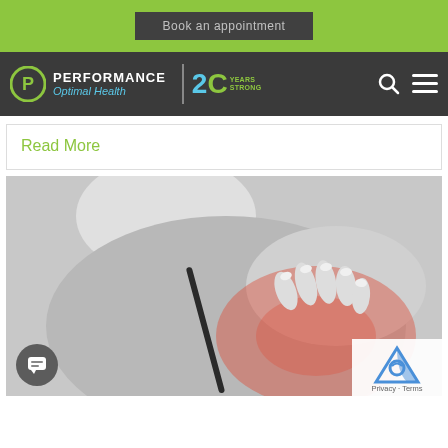Book an appointment
[Figure (logo): Performance Optimal Health logo with 20 Years Strong badge, search and menu icons on dark nav bar]
Read More
[Figure (photo): Black and white photo of a person holding their shoulder with a red highlighted area indicating shoulder pain, with a bra strap visible]